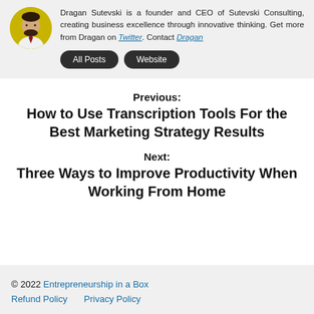[Figure (photo): Circular avatar photo of Dragan Sutevski, a man with a beard wearing a white shirt and dark red tie, against a yellow background]
Dragan Sutevski is a founder and CEO of Sutevski Consulting, creating business excellence through innovative thinking. Get more from Dragan on Twitter. Contact Dragan
All Posts  Website
Previous:
How to Use Transcription Tools For the Best Marketing Strategy Results
Next:
Three Ways to Improve Productivity When Working From Home
© 2022 Entrepreneurship in a Box
Refund Policy    Privacy Policy